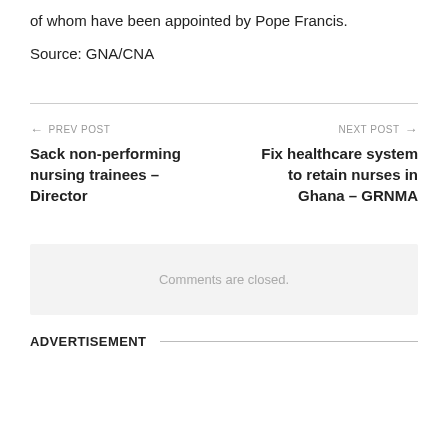of whom have been appointed by Pope Francis.
Source: GNA/CNA
← PREV POST
Sack non-performing nursing trainees – Director
NEXT POST →
Fix healthcare system to retain nurses in Ghana – GRNMA
Comments are closed.
ADVERTISEMENT